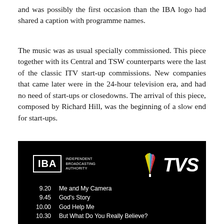and was possibly the first occasion than the IBA logo had shared a caption with programme names.
The music was as usual specially commissioned. This piece together with its Central and TSW counterparts were the last of the classic ITV start-up commissions. New companies that came later were in the 24-hour television era, and had no need of start-ups or closedowns. The arrival of this piece, composed by Richard Hill, was the beginning of a slow end for start-ups.
[Figure (photo): A black screen showing the IBA (Independent Broadcasting Authority) logo alongside the TVS television logo, with a programme schedule listing: 9.20 Me and My Camera, 9.45 God's Story, 10.00 God Help Me, 10.30 But What Do You Really Believe?]